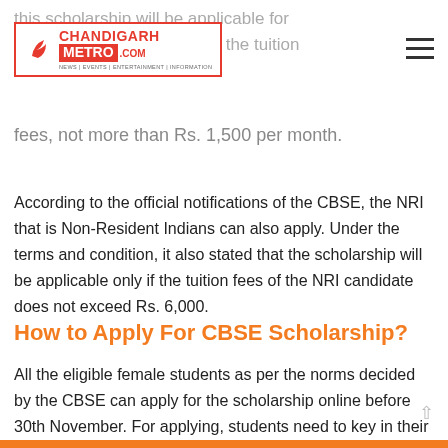Chandigarh Metro .com | NEWS | EVENTS | ENTERTAINMENT | INFORMATION
fees, not more than Rs. 1,500 per month.
According to the official notifications of the CBSE, the NRI that is Non-Resident Indians can also apply. Under the terms and condition, it also stated that the scholarship will be applicable only if the tuition fees of the NRI candidate does not exceed Rs. 6,000.
How to Apply For CBSE Scholarship?
All the eligible female students as per the norms decided by the CBSE can apply for the scholarship online before 30th November. For applying, students need to key in their roll number and certificate number online. Also, students are